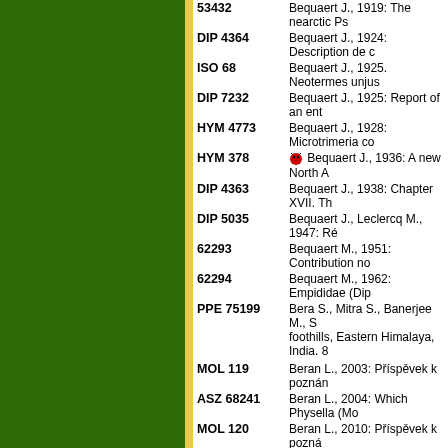53432 — Bequaert J., 1919: The nearctic Ps...
DIP 4364 — Bequaert J., 1924: Description de c...
ISO 68 — Bequaert J., 1925. Neotermes unjus...
DIP 7232 — Bequaert J., 1925: Report of an ent...
HYM 4773 — Bequaert J., 1928: Microtrimeria co...
HYM 378 — [icon] Bequaert J., 1936: A new North...
DIP 4363 — Bequaert J., 1938: Chapter XVII. Th...
DIP 5035 — Bequaert J., Leclercq M., 1947: Ré...
62293 — Bequaert M., 1951: Contribution no...
62294 — Bequaert M., 1962: Empididae (Dip...
PPE 75199 — Bera S., Mitra S., Banerjee M., S... foothills, Eastern Himalaya, India. 8...
MOL 119 — Beran L., 2003: Příspěvek k poznán...
ASZ 68241 — Beran L., 2004: Which Physella (Mo...
MOL 120 — Beran L., 2010: Příspěvek k pozná... Reserve (Central Bohemia, Czech R...
AEB 85274 — Beránková J., Barták M., Kocoure... Bohemoslovaca 85: 274-282.
LEP 367 — Bérard R., Dufay C., 1959: Sur une...
AVE 57 — [icon] Beraudo P. L., 1999: Distribuzion...
BSF 112099 — Berchi S., Louadi K., 2007: Cara... Culicidae). 6 pp. Bulletin de la Socié...
COL 1679 — Bercio ., 1927: Weitere Corrigenda...
Previous 1 2 3 4 5 6 7 8 9 10 11 12 13 14 15 16 17 1... 69 70 71 72 73 74 75 76 77 78 79 80 81...